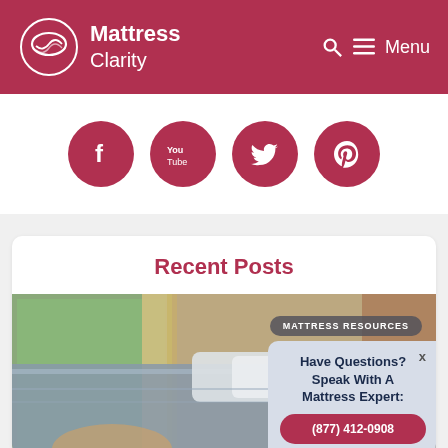Mattress Clarity — Menu
[Figure (logo): Mattress Clarity logo with pillow/wave icon and site name]
[Figure (infographic): Social media icons row: Facebook, YouTube, Twitter, Pinterest — all in dark red circles]
Recent Posts
[Figure (photo): Bedroom scene with a person on a bed, natural light from window. Badge overlay reads MATTRESS RESOURCES. Chat popup in bottom-right: Have Questions? Speak With A Mattress Expert: (877) 412-0908]